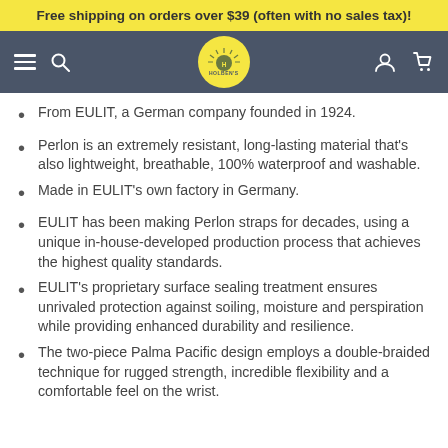Free shipping on orders over $39 (often with no sales tax)!
[Figure (screenshot): Holben's e-commerce website navigation bar with hamburger menu, search icon, Holben's logo (circular yellow badge), user account icon, and shopping cart icon on a slate-gray background.]
From EULIT, a German company founded in 1924.
Perlon is an extremely resistant, long-lasting material that's also lightweight, breathable, 100% waterproof and washable.
Made in EULIT's own factory in Germany.
EULIT has been making Perlon straps for decades, using a unique in-house-developed production process that achieves the highest quality standards.
EULIT's proprietary surface sealing treatment ensures unrivaled protection against soiling, moisture and perspiration while providing enhanced durability and resilience.
The two-piece Palma Pacific design employs a double-braided technique for rugged strength, incredible flexibility and a comfortable feel on the wrist.